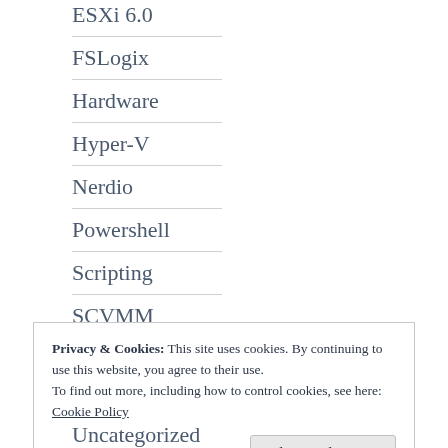ESXi 6.0
FSLogix
Hardware
Hyper-V
Nerdio
Powershell
Scripting
SCVMM
Privacy & Cookies: This site uses cookies. By continuing to use this website, you agree to their use.
To find out more, including how to control cookies, see here:
Cookie Policy
Close and accept
Uncategorized